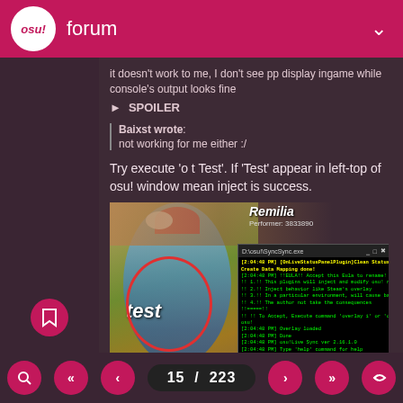osu! forum
it doesn't work to me, I don't see pp display ingame while console's output looks fine
SPOILER
Baixst wrote:
not working for me either :/
Try execute 'o t Test'. If 'Test' appear in left-top of osu! window mean inject is success.
[Figure (screenshot): Screenshot of osu! game window with Remilia character and a console/terminal window showing sync output and test commands, with red circles highlighting the 'test' text overlay and console output]
15 / 223